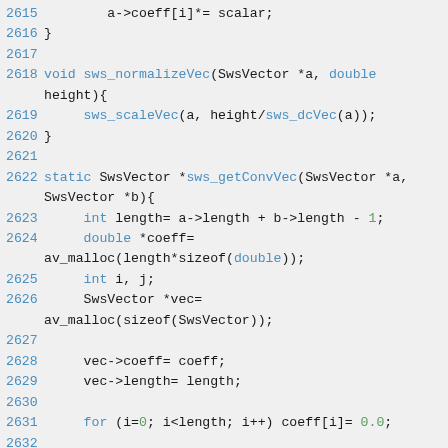[Figure (screenshot): Source code listing in C, lines 2615-2635, showing functions sws_normalizeVec and sws_getConvVec with syntax highlighting on a light gray background.]